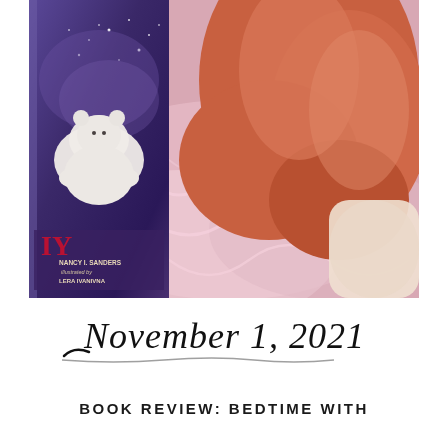[Figure (photo): A child lying in a pink swirly patterned bed with orange/salmon-colored legs visible, holding up a children's book with a white polar bear cub on the cover against a starry night background. The book text reads 'NANCY I. SANDERS illustrated by LERA IVANIVNA'.]
November 1, 2021
BOOK REVIEW: BEDTIME WITH